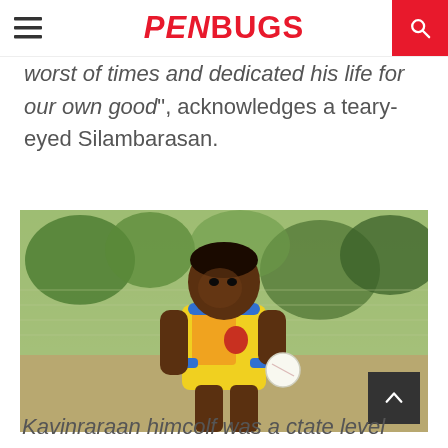PENBUGS
worst of times and dedicated his life for our own good", acknowledges a teary-eyed Silambarasan.
[Figure (photo): A young male cricket player wearing a yellow and orange jersey with blue trim, holding a cricket ball, standing outdoors with a chain-link fence and trees in the background.]
Kavinraraan himcolf was a ctate level